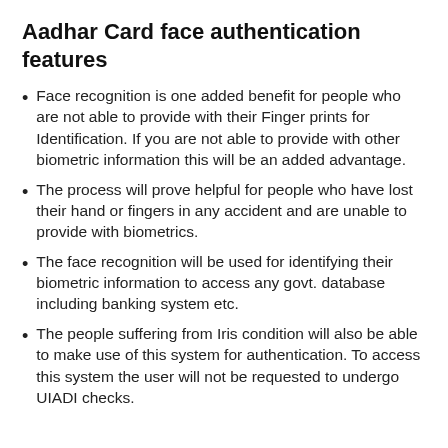Aadhar Card face authentication features
Face recognition is one added benefit for people who are not able to provide with their Finger prints for Identification. If you are not able to provide with other biometric information this will be an added advantage.
The process will prove helpful for people who have lost their hand or fingers in any accident and are unable to provide with biometrics.
The face recognition will be used for identifying their biometric information to access any govt. database including banking system etc.
The people suffering from Iris condition will also be able to make use of this system for authentication. To access this system the user will not be requested to undergo UIADI checks.